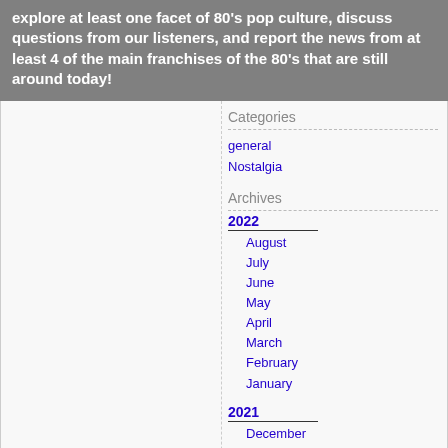explore at least one facet of 80's pop culture, discuss questions from our listeners, and report the news from at least 4 of the main franchises of the 80's that are still around today!
Categories
general
Nostalgia
Archives
2022
August
July
June
May
April
March
February
January
2021
December
November
October
September
August
July
June
May
April
March
February
January